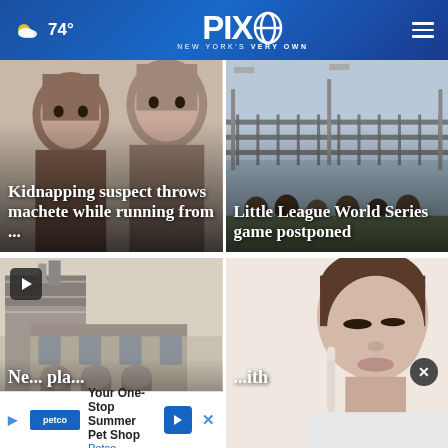PIX11 — NEW YORK'S VERY OWN — 74°
[Figure (photo): Mugshot-style photo of kidnapping suspect]
Kidnapping suspect throws machete while running from ...
[Figure (photo): Little League baseball field with fencing]
Little League World Series game postponed
[Figure (photo): Historic building under construction/renovation with scaffolding]
Ne... pla... ith
[Figure (photo): Woman looking down, possibly taking a COVID test or applying makeup]
Your One-Stop Summer Pet Shop — Petco